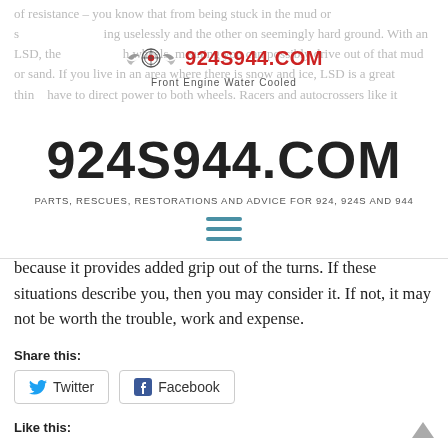924S944.COM — Front Engine Water Cooled
924S944.COM
PARTS, RESCUES, RESTORATIONS AND ADVICE FOR 924, 924S AND 944
because it provides added grip out of the turns.  If these situations describe you, then you may consider it.  If not, it may not be worth the trouble, work and expense.
Share this:
Twitter
Facebook
Like this: